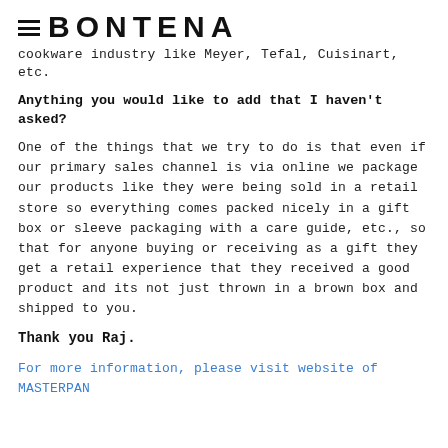≡ BONTENA
cookware industry like Meyer, Tefal, Cuisinart, etc.
Anything you would like to add that I haven't asked?
One of the things that we try to do is that even if our primary sales channel is via online we package our products like they were being sold in a retail store so everything comes packed nicely in a gift box or sleeve packaging with a care guide, etc., so that for anyone buying or receiving as a gift they get a retail experience that they received a good product and its not just thrown in a brown box and shipped to you.
Thank you Raj.
For more information, please visit website of MASTERPAN